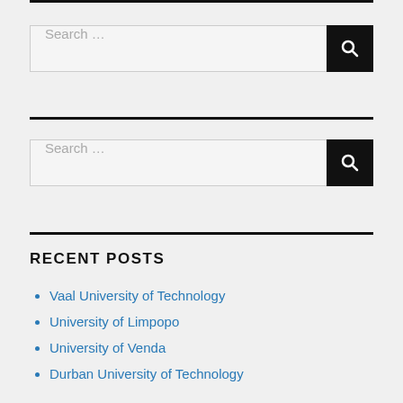[Figure (screenshot): Search bar with text 'Search ...' and a black button with magnifying glass icon]
[Figure (screenshot): Second search bar with text 'Search ...' and a black button with magnifying glass icon]
RECENT POSTS
Vaal University of Technology
University of Limpopo
University of Venda
Durban University of Technology